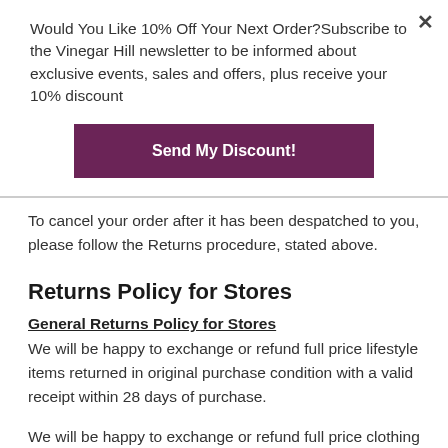Would You Like 10% Off Your Next Order?Subscribe to the Vinegar Hill newsletter to be informed about exclusive events, sales and offers, plus receive your 10% discount
Send My Discount!
To cancel your order after it has been despatched to you, please follow the Returns procedure, stated above.
Returns Policy for Stores
General Returns Policy for Stores
We will be happy to exchange or refund full price lifestyle items returned in original purchase condition with a valid receipt within 28 days of purchase.
We will be happy to exchange or refund full price clothing and footwear items returned in original purchase condition with a valid receipt within 14 days of purchase